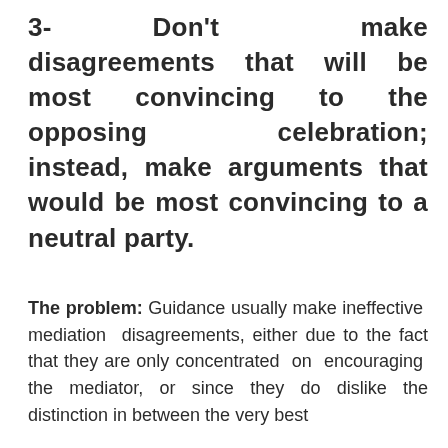3- Don't make disagreements that will be most convincing to the opposing celebration; instead, make arguments that would be most convincing to a neutral party.
The problem: Guidance usually make ineffective mediation disagreements, either due to the fact that they are only concentrated on encouraging the mediator, or since they do dislike the distinction in between the very best